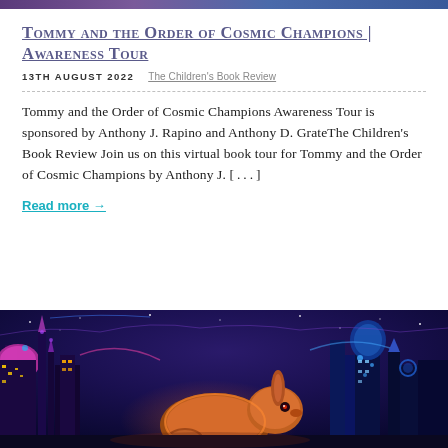[Figure (illustration): Top banner strip with purple/blue gradient colors]
Tommy and the Order of Cosmic Champions | Awareness Tour
13TH AUGUST 2022    The Children's Book Review
Tommy and the Order of Cosmic Champions Awareness Tour is sponsored by Anthony J. Rapino and Anthony D. GrateThe Children's Book Review Join us on this virtual book tour for Tommy and the Order of Cosmic Champions by Anthony J. [...]
Read more →
[Figure (illustration): Colorful fantasy book cover art showing a glowing rabbit in front of a futuristic fantasy cityscape at night with purple and blue tones, illuminated towers and buildings]